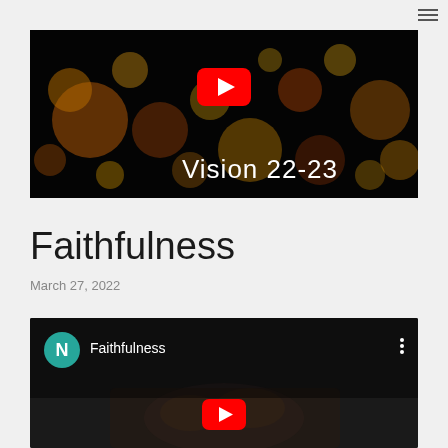[Figure (screenshot): YouTube video thumbnail with bokeh light background, YouTube play button, and text 'Vision 22-23']
Faithfulness
March 27, 2022
[Figure (screenshot): YouTube video embed showing 'Faithfulness' with teal N avatar, three-dots menu, hands image background, and YouTube play button]